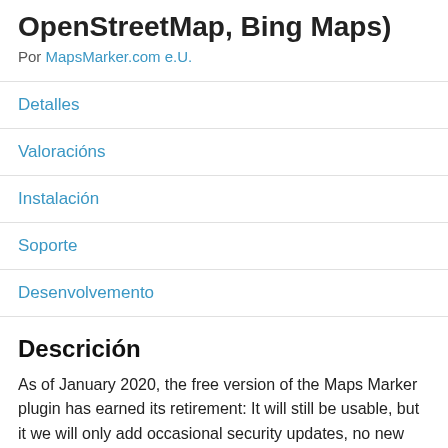OpenStreetMap, Bing Maps)
Por MapsMarker.com e.U.
Detalles
Valoracións
Instalación
Soporte
Desenvolvemento
Descrición
As of January 2020, the free version of the Maps Marker plugin has earned its retirement: It will still be usable, but it we will only add occasional security updates, no new features will be fine. O...